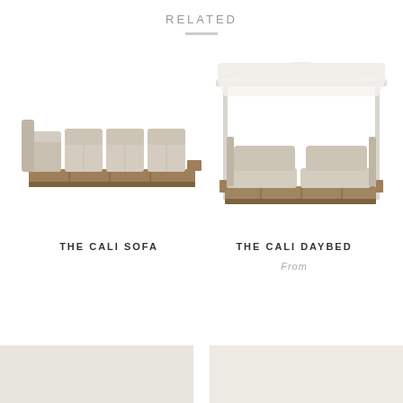RELATED
[Figure (photo): The Cali Sofa — a low-profile modular outdoor sofa with beige cushions on a teak wood platform base, viewed from slight angle]
THE CALI SOFA
[Figure (photo): The Cali Daybed — an outdoor daybed with canopy, beige cushions on teak platform, white metal frame canopy with white fabric shade]
THE CALI DAYBED
From
[Figure (photo): Light beige/greige fabric swatch bottom left]
[Figure (photo): Light beige/greige fabric swatch bottom right]